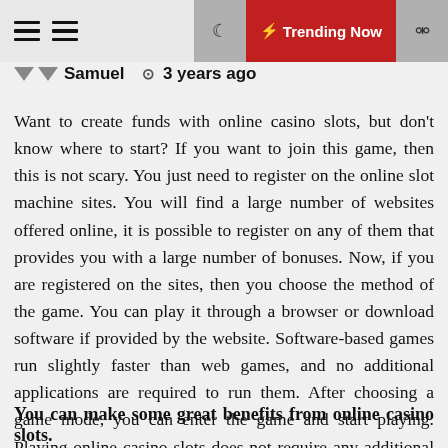Samuel  3 years ago | Trending Now
Samuel  ⊙3 years ago
Want to create funds with online casino slots, but don't know where to start? If you want to join this game, then this is not scary. You just need to register on the online slot machine sites. You will find a large number of websites offered online, it is possible to register on any of them that provides you with a large number of bonuses. Now, if you are registered on the sites, then you choose the method of the game. You can play it through a browser or download software if provided by the website. Software-based games run slightly faster than web games, and no additional applications are required to run them. After choosing a game mode, you can enter the game and start playing. Playing online casino slots does not require any additional skills. Anyone can join and take some positive points.
You can make some great benefits from online casino slots.